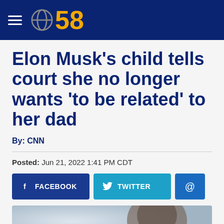CBS 58
Elon Musk's child tells court she no longer wants 'to be related' to her dad
By: CNN
Posted: Jun 21, 2022 1:41 PM CDT
[Figure (screenshot): Social share buttons: Facebook, Twitter, and email (@)]
[Figure (photo): Partial photo of a person, cropped at bottom of page]